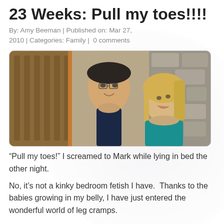23 Weeks: Pull my toes!!!!
By: Amy Beeman | Published on: Mar 27, 2010 | Categories: Family |  0 comments
[Figure (photo): A man and woman smiling at each other indoors, with a stone wall and wooden wine rack visible in the background. The woman is wearing a teal top and has blonde hair, looking up at the man who is wearing a dark navy shirt and glasses.]
“Pull my toes!” I screamed to Mark while lying in bed the other night.
No, it’s not a kinky bedroom fetish I have.  Thanks to the babies growing in my belly, I have just entered the wonderful world of leg cramps.
I was wondering the other night about something with...